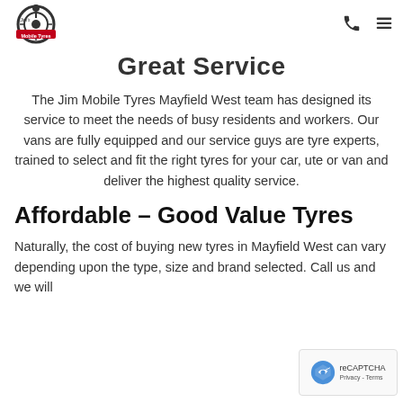Jim's Mobile Tyres — navigation header with phone and menu icons
Great Service
The Jim Mobile Tyres Mayfield West team has designed its service to meet the needs of busy residents and workers. Our vans are fully equipped and our service guys are tyre experts, trained to select and fit the right tyres for your car, ute or van and deliver the highest quality service.
Affordable – Good Value Tyres
Naturally, the cost of buying new tyres in Mayfield West can vary depending upon the type, size and brand selected. Call us and we will